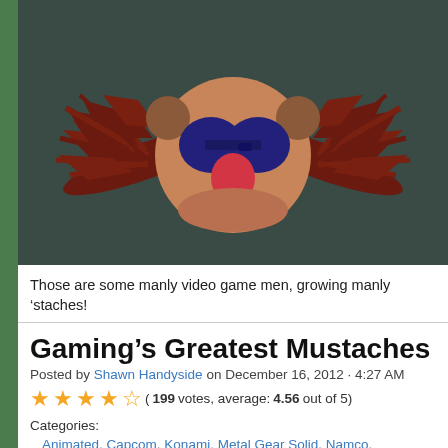[Figure (illustration): Illustrated cartoon face with large dark red/maroon mustache wings spreading outward, dark teal background, peach-colored round face, dark navy blue goggles/glasses, and a red nose. Style resembles a Muppet character.]
Those are some manly video game men, growing manly ‘staches!
Gaming’s Greatest Mustaches
Posted by Shawn Handyside on December 16, 2012 · 4:27 AM
(199 votes, average: 4.56 out of 5)
Categories:
Animated, Capcom, Konami, Metal Gear Solid, Namco, Nintendo, No Caption Needed, Sega, Sonic the Hedgehog, Sony, Super Mario Bros, Ta...